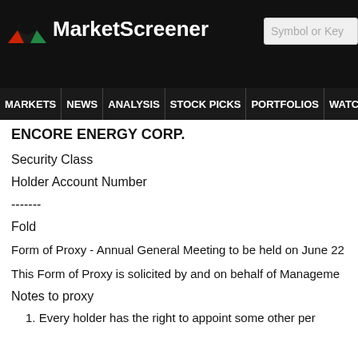MarketScreener | Symbol or Key
MARKETS NEWS ANALYSIS STOCK PICKS PORTFOLIOS WATCHLI
ENCORE ENERGY CORP.
Security Class
Holder Account Number
-------
Fold
Form of Proxy - Annual General Meeting to be held on June 22
This Form of Proxy is solicited by and on behalf of Management
Notes to proxy
1. Every holder has the right to appoint some other per